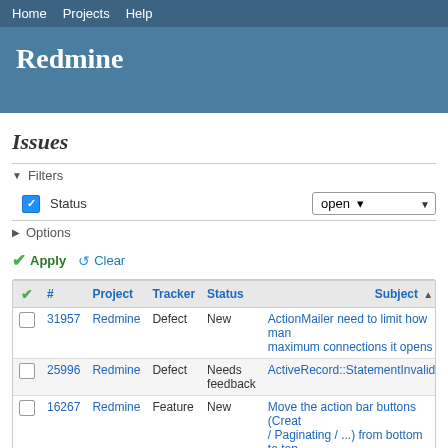Home  Projects  Help
Redmine
Issues
▼ Filters
Status  [open ▼]
▶ Options
✔ Apply  ↺ Clear
| ✔ | # | Project | Tracker | Status | Subject ▲ |
| --- | --- | --- | --- | --- | --- |
| ☐ | 31957 | Redmine | Defect | New | ActionMailer need to limit how many maximum connections it opens |
| ☐ | 25996 | Redmine | Defect | Needs feedback | ActiveRecord::StatementInvalid |
| ☐ | 16267 | Redmine | Feature | New | Move the action bar buttons (Create / Paginating / ...) from bottom to top |
| ☐ | 36931 | Redmine | Feature | New | Option to search active projects only |
| ☐ | 26439 | Redmine | Patch | New | Plugin load order defined by plugin |
| ☐ | 34302 | Redmine | Feature | New | Show parent issues in notification e |
| ☐ | 32821 | Redmine | Feature | New | The ability to disable the distribution notifications to group members |
| ☐ | 29894 | Redmine | Feature | New | View watchers on the issue list |